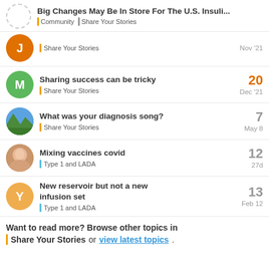Big Changes May Be In Store For The U.S. Insuli... | Community | Share Your Stories
Share Your Stories | Nov '21
Sharing success can be tricky | Share Your Stories | Dec '21 | 20 replies
What was your diagnosis song? | Share Your Stories | May 8 | 7 replies
Mixing vaccines covid | Type 1 and LADA | 27d | 12 replies
New reservoir but not a new infusion set | Type 1 and LADA | Feb 12 | 13 replies
Want to read more? Browse other topics in Share Your Stories or view latest topics.